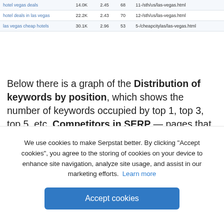| hotel vegas deals | 14.0K | 2.45 | 68 | 11-/sth/us/las-vegas.html |
| hotel deals in las vegas | 22.2K | 2.43 | 70 | 12-/sth/us/las-vegas.html |
| las vegas cheap hotels | 30.1K | 2.96 | 53 | 5-/cheapcitylas/las-vegas.html |
Below there is a graph of the Distribution of keywords by position, which shows the number of keywords occupied by top 1, top 3, top 5, etc. Competitors in SERP — pages that occupy positions in the top 10 for the same keywords as the search page.
Missing keywords are keywords for which
We use cookies to make Serpstat better. By clicking "Accept cookies", you agree to the storing of cookies on your device to enhance site navigation, analyze site usage, and assist in our marketing efforts.  Learn more